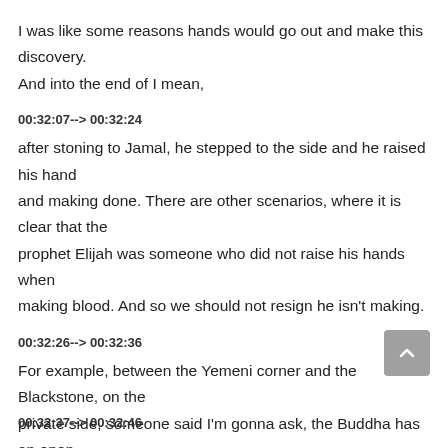I was like some reasons hands would go out and make this discovery. And into the end of I mean,
00:32:07--> 00:32:24
after stoning to Jamal, he stepped to the side and he raised his hand and making done. There are other scenarios, where it is clear that the prophet Elijah was someone who did not raise his hands when making blood. And so we should not resign he isn't making.
00:32:26--> 00:32:36
For example, between the Yemeni corner and the Blackstone, on the private side, someone said I'm gonna ask, the Buddha has an open community has been looking at them, but not
00:32:37--> 00:32:46